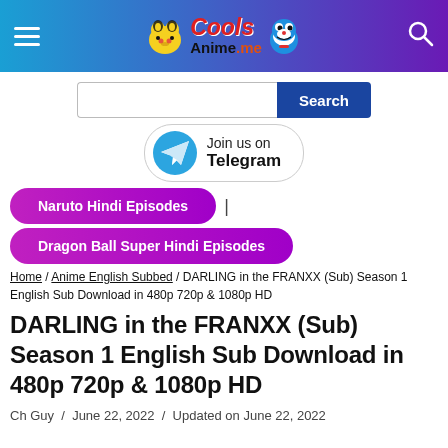CoolsAnime.me
[Figure (screenshot): Search bar with input field and Search button]
[Figure (infographic): Telegram join button with Telegram logo]
[Figure (infographic): Navigation buttons: Naruto Hindi Episodes and Dragon Ball Super Hindi Episodes]
Home / Anime English Subbed / DARLING in the FRANXX (Sub) Season 1 English Sub Download in 480p 720p & 1080p HD
DARLING in the FRANXX (Sub) Season 1 English Sub Download in 480p 720p & 1080p HD
Ch Guy  /  June 22, 2022  /  Updated on June 22, 2022